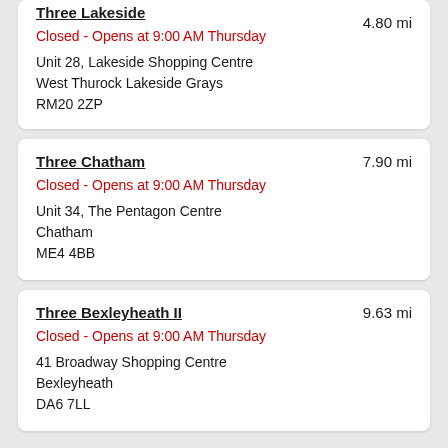Three Lakeside — 4.80 mi
Closed - Opens at 9:00 AM Thursday
Unit 28, Lakeside Shopping Centre
West Thurock Lakeside Grays
RM20 2ZP
Three Chatham — 7.90 mi
Closed - Opens at 9:00 AM Thursday
Unit 34, The Pentagon Centre
Chatham
ME4 4BB
Three Bexleyheath II — 9.63 mi
Closed - Opens at 9:00 AM Thursday
41 Broadway Shopping Centre
Bexleyheath
DA6 7LL